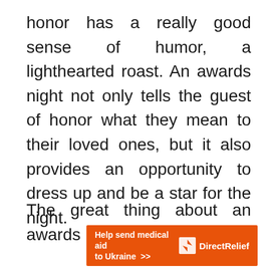honor has a really good sense of humor, a lighthearted roast. An awards night not only tells the guest of honor what they mean to their loved ones, but it also provides an opportunity to dress up and be a star for the night.
The great thing about an awards
[Figure (other): Orange advertisement banner reading 'Help send medical aid to Ukraine >>' with Direct Relief logo on the right]